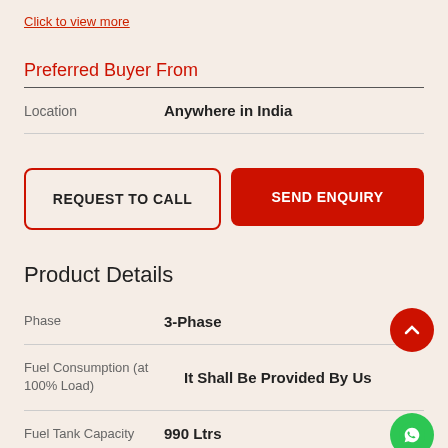Click to view more
Preferred Buyer From
| Field | Value |
| --- | --- |
| Location | Anywhere in India |
REQUEST TO CALL
SEND ENQUIRY
Product Details
| Field | Value |
| --- | --- |
| Phase | 3-Phase |
| Fuel Consumption (at 100% Load) | It Shall Be Provided By Us |
| Fuel Tank Capacity | 990 Ltrs |